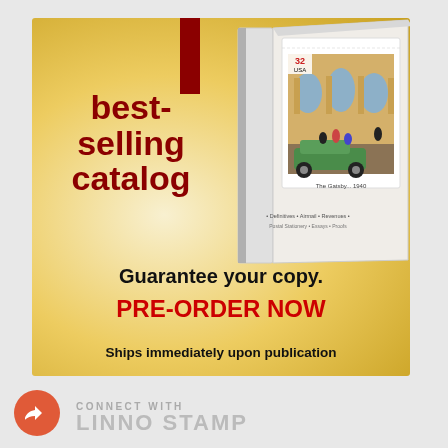[Figure (illustration): Advertisement for a best-selling stamp catalog. Yellow/golden textured background with a book showing a 32¢ USA stamp featuring people and a green vintage car. Red vertical bar at top. Text overlay says 'best-selling catalog', 'Guarantee your copy.', 'PRE-ORDER NOW', 'Ships immediately upon publication'.]
best-selling catalog
Guarantee your copy.
PRE-ORDER NOW
Ships immediately upon publication
CONNECT WITH
LINNO STAMP